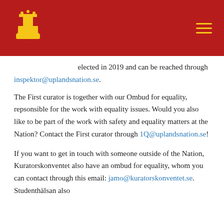[Figure (logo): Uplands Nation logo: yellow crown/dome building icon on red background header bar with hamburger menu icon]
elected in 2019 and can be reached through inspektor@uplandsnation.se.
The First curator is together with our Ombud for equality, repsonsible for the work with equality issues. Would you also like to be part of the work with safety and equality matters at the Nation? Contact the First curator through 1Q@uplandsnation.se!
If you want to get in touch with someone outside of the Nation, Kuratorskonventet also have an ombud for equality, whom you can contact through this email: jamo@kuratorskonventet.se. Studenthälsan also